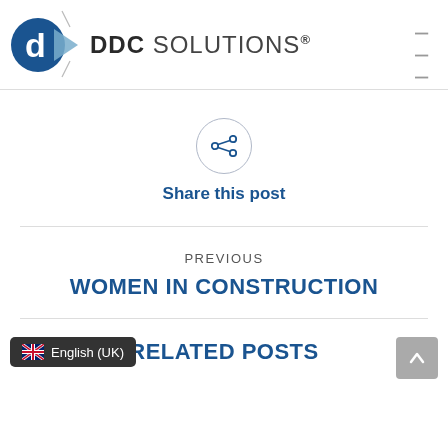DDC SOLUTIONS®
[Figure (logo): DDC Solutions logo with blue chevron/arrow icon and bold DDC SOLUTIONS® text]
Share this post
PREVIOUS
WOMEN IN CONSTRUCTION
RELATED POSTS
English (UK)